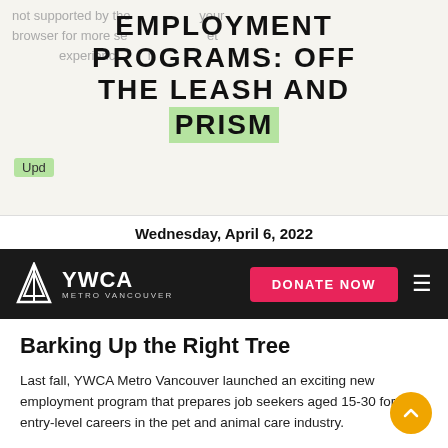EMPLOYMENT PROGRAMS: OFF THE LEASH AND PRISM
Wednesday, April 6, 2022
[Figure (logo): YWCA Metro Vancouver logo with DONATE NOW button and hamburger menu on dark navigation bar]
Barking Up the Right Tree
Last fall, YWCA Metro Vancouver launched an exciting new employment program that prepares job seekers aged 15-30 for entry-level careers in the pet and animal care industry.
YWCA Off the Leash is funded by the Government of Canada's Youth Employment and Skills Strategy. The program consists of four weeks of skills training workshops followed by 10 weeks of professional work experience. During training, participants receive in-